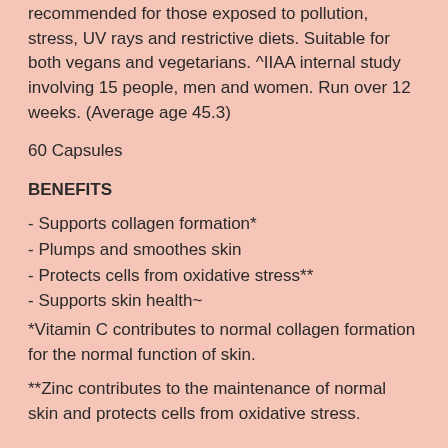recommended for those exposed to pollution, stress, UV rays and restrictive diets. Suitable for both vegans and vegetarians. ^IIAA internal study involving 15 people, men and women. Run over 12 weeks. (Average age 45.3)
60 Capsules
BENEFITS
- Supports collagen formation*
- Plumps and smoothes skin
- Protects cells from oxidative stress**
- Supports skin health~
*Vitamin C contributes to normal collagen formation for the normal function of skin.
**Zinc contributes to the maintenance of normal skin and protects cells from oxidative stress.